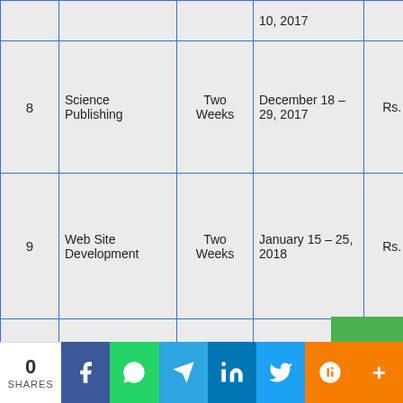| # | Course Name | Duration | Date | Fee |
| --- | --- | --- | --- | --- |
|  |  |  | 10, 2017 |  |
| 8 | Science Publishing | Two Weeks | December 18 – 29, 2017 | Rs. 10,000 |
| 9 | Web Site Development | Two Weeks | January 15 – 25, 2018 | Rs. 10,000 |
| 10 | Social Media | Two... | February 05 – 16... | Rs... |